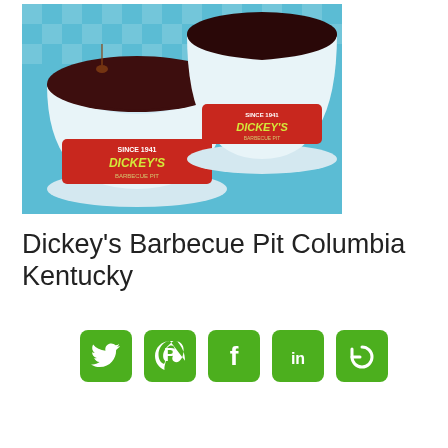[Figure (photo): Two Dickey's Barbecue Pit branded cups filled with dark BBQ sauce, sitting on a blue and white checkered tablecloth. The cups have the Dickey's Barbecue Pit logo with 'Since 1941' text.]
Dickey's Barbecue Pit Columbia Kentucky
[Figure (infographic): Social media sharing buttons: Twitter, Pinterest, Facebook, LinkedIn, and a share/refresh icon — all with green rounded square backgrounds and white icons.]